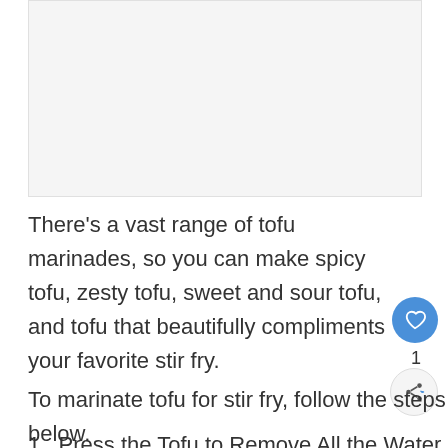[Figure (photo): Placeholder image area for tofu marinade recipe photo]
There's a vast range of tofu marinades, so you can make spicy tofu, zesty tofu, sweet and sour tofu, and tofu that beautifully compliments your favorite stir fry.
To marinate tofu for stir fry, follow the steps below.
1. Press the Tofu to Remove All the Water